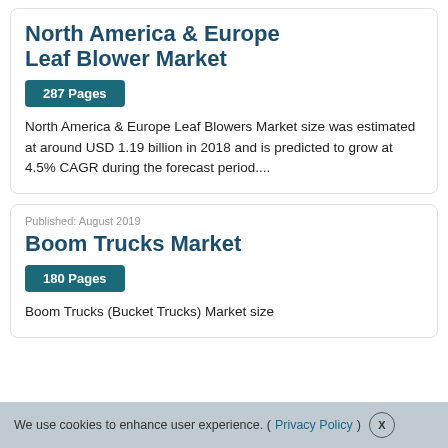North America & Europe Leaf Blower Market
287 Pages
North America & Europe Leaf Blowers Market size was estimated at around USD 1.19 billion in 2018 and is predicted to grow at 4.5% CAGR during the forecast period....
Published: August 2019
Boom Trucks Market
180 Pages
Boom Trucks (Bucket Trucks) Market size
We use cookies to enhance user experience. (Privacy Policy) X